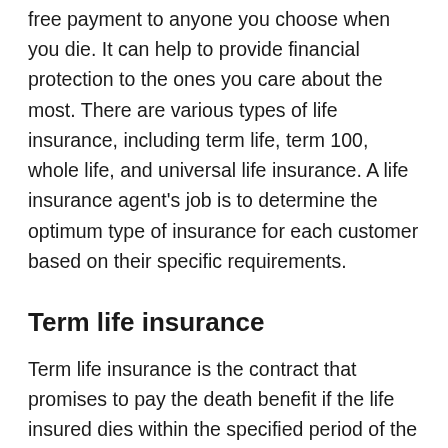free payment to anyone you choose when you die. It can help to provide financial protection to the ones you care about the most. There are various types of life insurance, including term life, term 100, whole life, and universal life insurance. A life insurance agent's job is to determine the optimum type of insurance for each customer based on their specific requirements.
Term life insurance
Term life insurance is the contract that promises to pay the death benefit if the life insured dies within the specified period of the contract. The term refers to the length of time that the coverage will be assured to continue as long as the policy premiums are paid. The most common life insurance requirements are 10 years, 20 years, 25 years, or up to a specific age. It can either